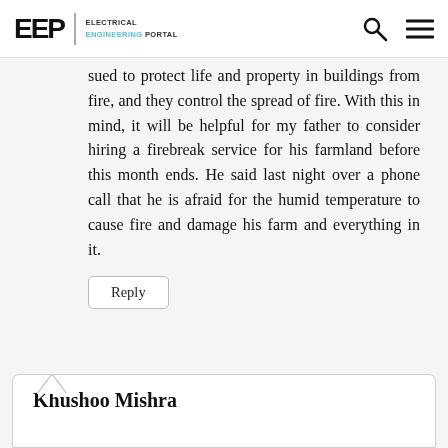EEP | ELECTRICAL ENGINEERING PORTAL
sued to protect life and property in buildings from fire, and they control the spread of fire. With this in mind, it will be helpful for my father to consider hiring a firebreak service for his farmland before this month ends. He said last night over a phone call that he is afraid for the humid temperature to cause fire and damage his farm and everything in it.
Reply
Khushoo Mishra